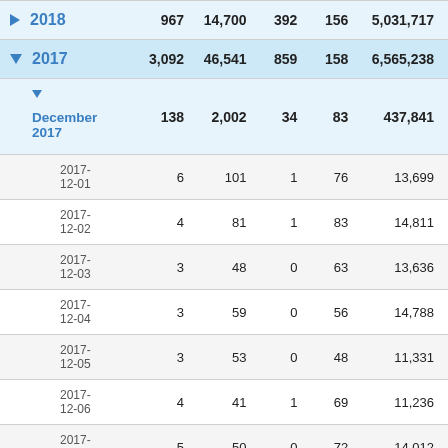| Date | Col1 | Col2 | Col3 | Col4 | Col5 |
| --- | --- | --- | --- | --- | --- |
| 2018 | 967 | 14,700 | 392 | 156 | 5,031,717 |
| 2017 | 3,092 | 46,541 | 859 | 158 | 6,565,238 |
| December 2017 | 138 | 2,002 | 34 | 83 | 437,841 |
| 2017-12-01 | 6 | 101 | 1 | 76 | 13,699 |
| 2017-12-02 | 4 | 81 | 1 | 83 | 14,811 |
| 2017-12-03 | 3 | 48 | 0 | 63 | 13,636 |
| 2017-12-04 | 3 | 59 | 0 | 56 | 14,788 |
| 2017-12-05 | 3 | 53 | 0 | 48 | 11,331 |
| 2017-12-06 | 4 | 41 | 1 | 69 | 11,236 |
| 2017-12-07 | 5 | 50 | 0 | 72 | 14,012 |
| 2017-12-08 | 3 | 44 | 0 | 69 | 13,371 |